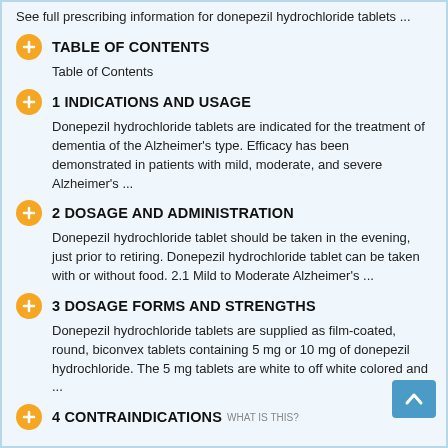See full prescribing information for donepezil hydrochloride tablets ...
TABLE OF CONTENTS
Table of Contents
1 INDICATIONS AND USAGE
Donepezil hydrochloride tablets are indicated for the treatment of dementia of the Alzheimer's type. Efficacy has been demonstrated in patients with mild, moderate, and severe Alzheimer's ...
2 DOSAGE AND ADMINISTRATION
Donepezil hydrochloride tablet should be taken in the evening, just prior to retiring. Donepezil hydrochloride tablet can be taken with or without food. 2.1 Mild to Moderate Alzheimer's ...
3 DOSAGE FORMS AND STRENGTHS
Donepezil hydrochloride tablets are supplied as film-coated, round, biconvex tablets containing 5 mg or 10 mg of donepezil hydrochloride. The 5 mg tablets are white to off white colored and ...
4 CONTRAINDICATIONS